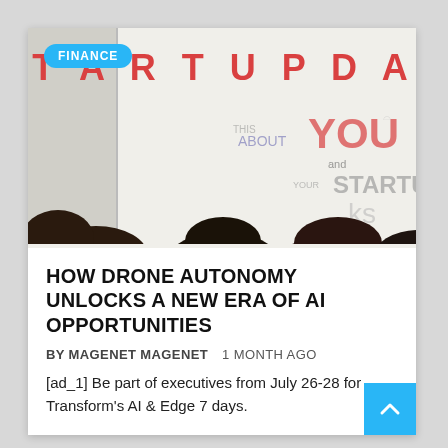[Figure (photo): Photo of people seated at a startup event with a whiteboard reading STARTUP DAY and handwritten notes including 'ABOUT YOU and YOUR STARTUP'. A FINANCE badge overlay is in the top-left corner.]
HOW DRONE AUTONOMY UNLOCKS A NEW ERA OF AI OPPORTUNITIES
BY MAGENET MAGENET   1 MONTH AGO
[ad_1] Be part of executives from July 26-28 for Transform's AI & Edge 7 days.